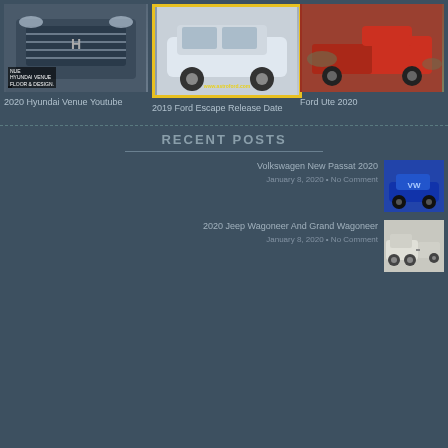[Figure (photo): 2020 Hyundai Venue front grille photo with NUE branding overlay]
2020 Hyundai Venue Youtube
[Figure (photo): 2019 Ford Escape white SUV photo with www.astroford.com watermark and yellow border]
2019 Ford Escape Release Date
[Figure (photo): Ford Ute 2020 red truck/ute photo]
Ford Ute 2020
RECENT POSTS
[Figure (photo): Volkswagen New Passat 2020 blue car thumbnail]
Volkswagen New Passat 2020
January 8, 2020 • No Comment
[Figure (photo): 2020 Jeep Wagoneer And Grand Wagoneer white SUV towing trailer thumbnail]
2020 Jeep Wagoneer And Grand Wagoneer
January 8, 2020 • No Comment